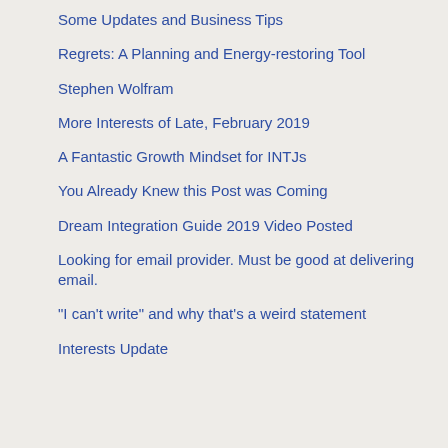Some Updates and Business Tips
Regrets: A Planning and Energy-restoring Tool
Stephen Wolfram
More Interests of Late, February 2019
A Fantastic Growth Mindset for INTJs
You Already Knew this Post was Coming
Dream Integration Guide 2019 Video Posted
Looking for email provider. Must be good at delivering email.
"I can't write" and why that's a weird statement
Interests Update